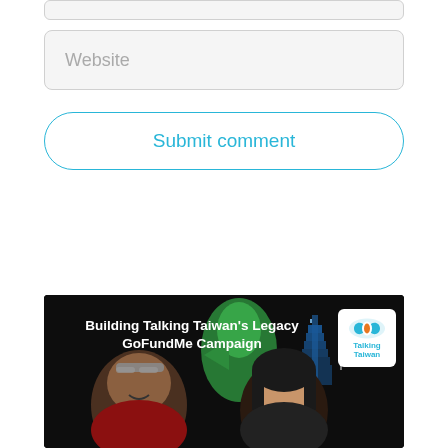[Figure (screenshot): A form input field (top bar, partially visible at top of page)]
[Figure (screenshot): A form input field labeled 'Website' with light gray background and rounded corners]
[Figure (screenshot): A 'Submit comment' button with blue outline and rounded pill shape]
[Figure (photo): A promotional image for 'Building Talking Taiwan's Legacy GoFundMe Campaign' showing two people (a man with sunglasses on his head and a woman) against a dark background with a green bird/thumbs-up shape and Taipei 101 tower, with the Talking Taiwan logo in the top right corner]